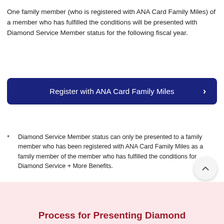One family member (who is registered with ANA Card Family Miles) of a member who has fulfilled the conditions will be presented with Diamond Service Member status for the following fiscal year.
[Figure (other): Dark navy blue button/banner with text 'Register with ANA Card Family Miles' and a right-pointing chevron arrow on the right side.]
* Diamond Service Member status can only be presented to a family member who has been registered with ANA Card Family Miles as a family member of the member who has fulfilled the conditions for Diamond Service + More Benefits.
Process for Presenting Diamond